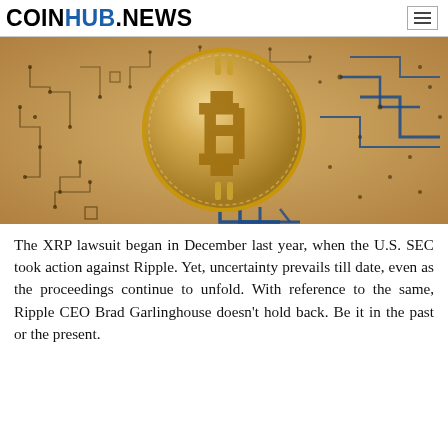COINHUB.NEWS
[Figure (photo): Bitcoin gold coin on a circuit board background with blue circuit traces, digital cryptocurrency concept image]
The XRP lawsuit began in December last year, when the U.S. SEC took action against Ripple. Yet, uncertainty prevails till date, even as the proceedings continue to unfold. With reference to the same, Ripple CEO Brad Garlinghouse doesn't hold back. Be it in the past or the present.